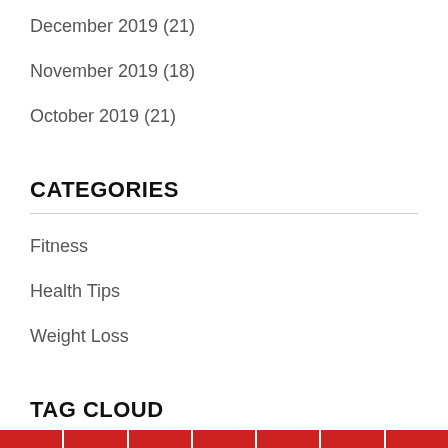December 2019 (21)
November 2019 (18)
October 2019 (21)
CATEGORIES
Fitness
Health Tips
Weight Loss
TAG CLOUD